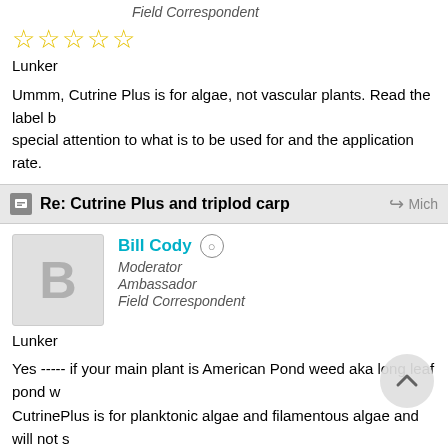Field Correspondent
★★★★★
Lunker
Ummm, Cutrine Plus is for algae, not vascular plants. Read the label b... special attention to what is to be used for and the application rate.
Re: Cutrine Plus and triplod carp
Bill Cody
Moderator
Ambassador
Field Correspondent
Lunker
Yes ----- if your main plant is American Pond weed aka long leaf pond w... CutrinePlus is for planktonic algae and filamentous algae and will not s... How big is the pond?
Does the AmPondweed completely surround the shoreline?
A weed razor is good for cutting open fishing access areas in beds of A... into years 3-4 and provide better control of pondweed. If the pond is la... grass carp.
There are other good herbicides for reducing pondweeds.